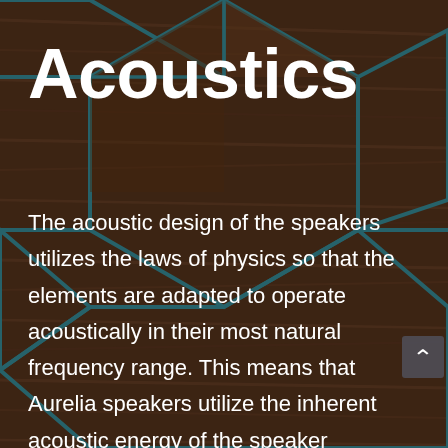Acoustics
The acoustic design of the speakers utilizes the laws of physics so that the elements are adapted to operate acoustically in their most natural frequency range. This means that Aurelia speakers utilize the inherent acoustic energy of the speaker elements themselves. In this case,